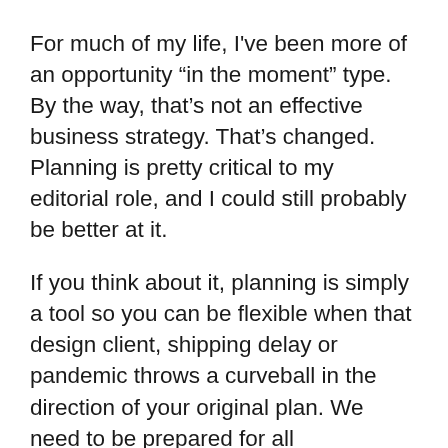For much of my life, I've been more of an opportunity “in the moment” type. By the way, that’s not an effective business strategy. That’s changed. Planning is pretty critical to my editorial role, and I could still probably be better at it.
If you think about it, planning is simply a tool so you can be flexible when that design client, shipping delay or pandemic throws a curveball in the direction of your original plan. We need to be prepared for all contingencies.
This year has certainly been one of changing plans — in design, at retail, in the home furnishings industry. Never before has there been as much of a need for that plan B or plan C or even plan D. There has been obstacle after obstacle that has